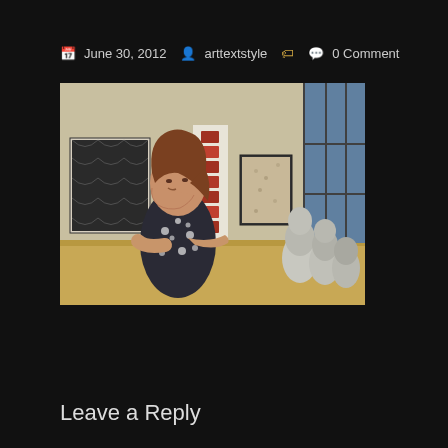June 30, 2012  arttextstyle  0 Comment
[Figure (photo): Woman in a floral top standing in an art gallery, gesturing with her hands. Behind her are several framed artworks hanging on white walls and sculptural forms on the right side of the gallery. Large windows are visible in the background.]
Leave a Reply